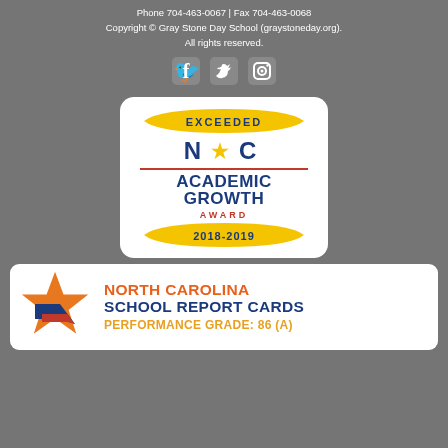Phone 704-463-0067 | Fax 704-463-0068
Copyright © Gray Stone Day School (graystoneday.org).
All rights reserved.
[Figure (illustration): Social media icons: Facebook, Twitter, Instagram]
[Figure (illustration): NC Academic Growth Award badge - EXCEEDED NC Academic Growth Award 2018-2019]
[Figure (illustration): North Carolina School Report Cards - Performance Grade: 86 (A)]